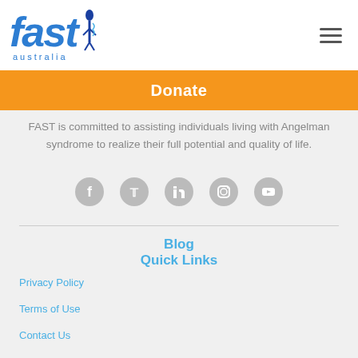[Figure (logo): FAST Australia logo with stylized blue 'fast' text and decorative emblem, with 'australia' text below]
Donate
FAST is committed to assisting individuals living with Angelman syndrome to realize their full potential and quality of life.
[Figure (infographic): Row of five circular social media icons: Facebook, Twitter, LinkedIn, Instagram, YouTube]
Blog
Quick Links
Privacy Policy
Terms of Use
Contact Us